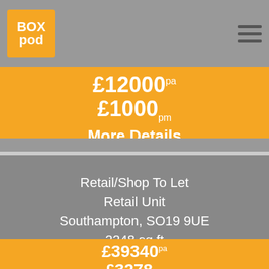BoxPod logo and navigation
£12000 pa
£1000 pm
More Details
Retail/Shop To Let
Retail Unit
Southampton, SO19 9UE
2248 sq ft
Under Offer
£39340 pa
£3278 pm
More Details